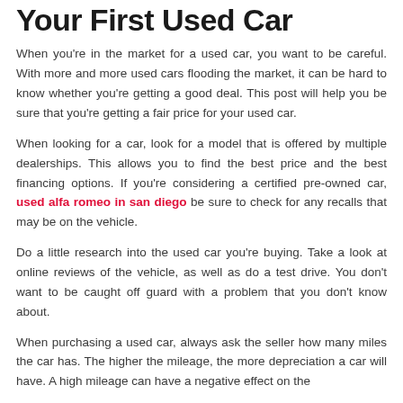Your First Used Car
When you're in the market for a used car, you want to be careful. With more and more used cars flooding the market, it can be hard to know whether you're getting a good deal. This post will help you be sure that you're getting a fair price for your used car.
When looking for a car, look for a model that is offered by multiple dealerships. This allows you to find the best price and the best financing options. If you're considering a certified pre-owned car, used alfa romeo in san diego be sure to check for any recalls that may be on the vehicle.
Do a little research into the used car you're buying. Take a look at online reviews of the vehicle, as well as do a test drive. You don't want to be caught off guard with a problem that you don't know about.
When purchasing a used car, always ask the seller how many miles the car has. The higher the mileage, the more depreciation a car will have. A high mileage can have a negative effect on the